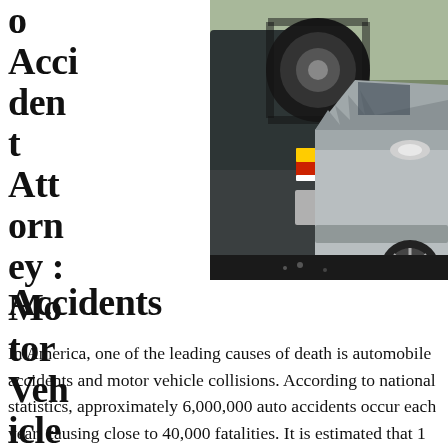o Accident Attorney: Motor Vehicle Accidents
[Figure (photo): Photo of two vehicles in a rear-end collision, showing a silver car crumpled into the back of a dark SUV with a spare tire mounted on the rear.]
In America, one of the leading causes of death is automobile accidents and motor vehicle collisions. According to national statistics, approximately 6,000,000 auto accidents occur each year, causing close to 40,000 fatalities. It is estimated that 1 out of